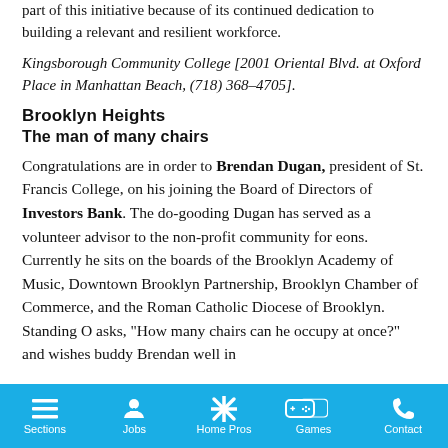part of this initiative because of its continued dedication to building a relevant and resilient workforce.
Kingsborough Community College [2001 Oriental Blvd. at Oxford Place in Manhattan Beach, (718) 368–4705].
Brooklyn Heights
The man of many chairs
Congratulations are in order to Brendan Dugan, president of St. Francis College, on his joining the Board of Directors of Investors Bank. The do-gooding Dugan has served as a volunteer advisor to the non-profit community for eons. Currently he sits on the boards of the Brooklyn Academy of Music, Downtown Brooklyn Partnership, Brooklyn Chamber of Commerce, and the Roman Catholic Diocese of Brooklyn. Standing O asks, “How many chairs can he occupy at once?” and wishes buddy Brendan well in
Sections  Jobs  Home Pros  Games  Contact